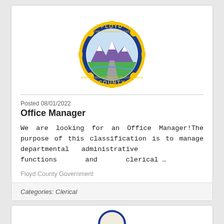[Figure (logo): Floyd County seal/logo — circular badge with blue border, yellow outer ring with text 'FLOYD COUNTY' and decorative elements, mountain landscape with green fields and road in center, text reading 'THE ENCHANTED LAND' and 'WHERE RIVERS MEET AND THE MOUNTAINS BEGIN']
Posted 08/01/2022
Office Manager
We are looking for an Office Manager!The purpose of this classification is to manage departmental administrative functions and clerical …
Floyd County Government
Categories: Clerical